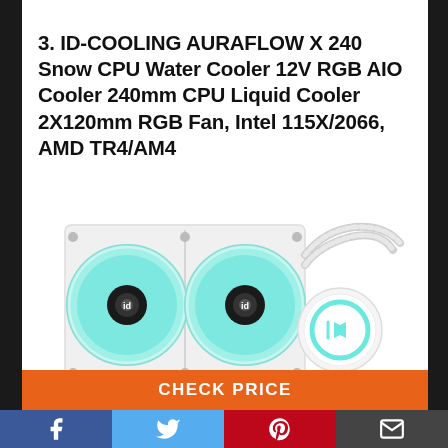3. ID-COOLING AURAFLOW X 240 Snow CPU Water Cooler 12V RGB AIO Cooler 240mm CPU Liquid Cooler 2X120mm RGB Fan, Intel 115X/2066, AMD TR4/AM4
[Figure (photo): White ID-COOLING AURAFLOW X 240 Snow AIO liquid CPU cooler with two 120mm teal/cyan RGB fans and a round white CPU block with teal RGB ring and ID-COOLING logo, white braided tubing.]
CHECK PRICE